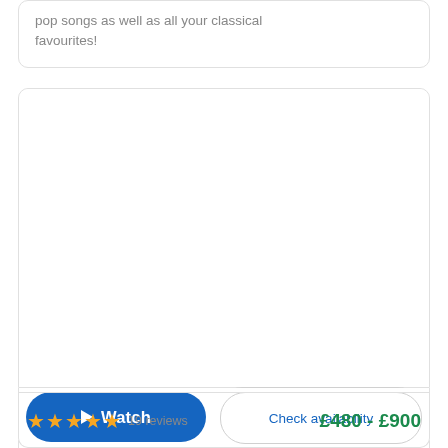pop songs as well as all your classical favourites!
[Figure (other): Product/service card with heart/favorite icon, watch video button, and check availability button, showing a music performer listing]
★★★★★ 19 reviews  £480 - £900